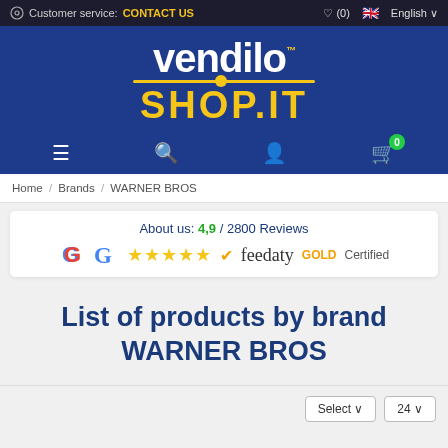Customer service: CONTACT US | ♡ (0) | 🇬🇧 English
[Figure (logo): Vendilo Shop.it logo — white 'vendilo' text with yellow dot and underline, yellow 'SHOP.IT' text on blue background]
[Figure (infographic): Navigation bar with hamburger menu, search, user, and cart (0) icons on blue background]
Home / Brands / WARNER BROS
[Figure (infographic): About us: 4,9 / 2800 Reviews — Google 5-star rating and Feedaty GOLD Certified badge]
List of products by brand WARNER BROS
Select ▾   24 ▾